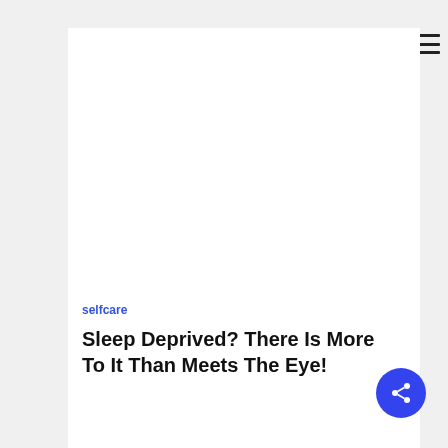[Figure (photo): Woman sleeping with head resting on papers on a desk, with a laptop and blue pen visible, and a plant in the background.]
selfcare
Sleep Deprived? There Is More To It Than Meets The Eye!